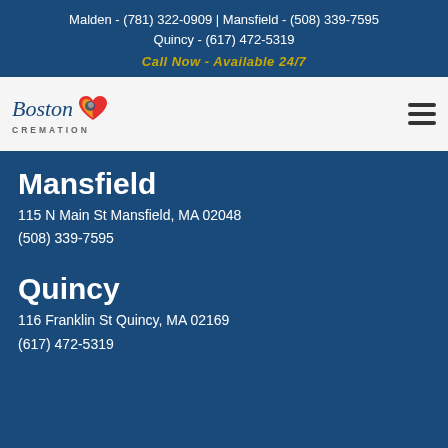Malden - (781) 322-0909 | Mansfield - (508) 339-7595
Quincy - (617) 472-5319
Call Now - Available 24/7
[Figure (logo): Boston Cremation logo with colorful heart icon and cursive Boston text above CREMATION in uppercase]
Mansfield
115 N Main St Mansfield, MA 02048
(508) 339-7595
Quincy
116 Franklin St Quincy, MA 02169
(617) 472-5319
© 2021 Boston Cremation. All Rights Reserved.